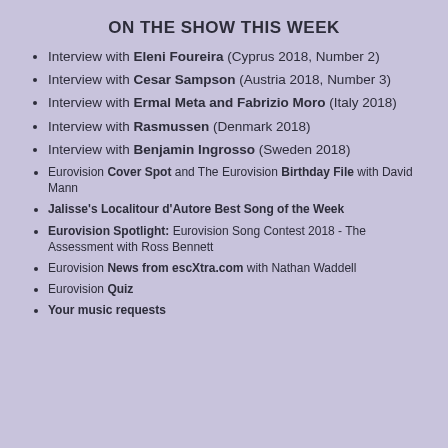ON THE SHOW THIS WEEK
Interview with Eleni Foureira (Cyprus 2018, Number 2)
Interview with Cesar Sampson (Austria 2018, Number 3)
Interview with Ermal Meta and Fabrizio Moro (Italy 2018)
Interview with Rasmussen (Denmark 2018)
Interview with Benjamin Ingrosso (Sweden 2018)
Eurovision Cover Spot and The Eurovision Birthday File with David Mann
Jalisse's Localitour d'Autore Best Song of the Week
Eurovision Spotlight: Eurovision Song Contest 2018 - The Assessment with Ross Bennett
Eurovision News from escXtra.com with Nathan Waddell
Eurovision Quiz
Your music requests